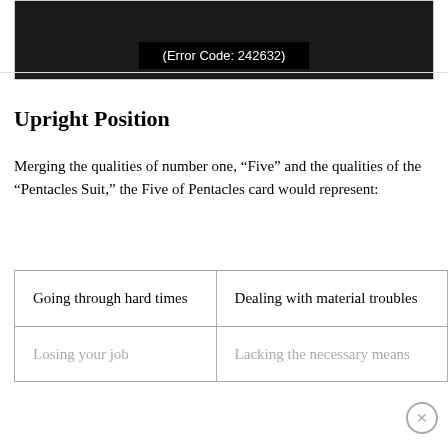[Figure (screenshot): Black image area showing error code text: (Error Code: 242632)]
Upright Position
Merging the qualities of number one, “Five” and the qualities of the “Pentacles Suit,” the Five of Pentacles card would represent:
| Going through hard times | Dealing with material troubles |
| Losing your job | Lacking the necessary means |